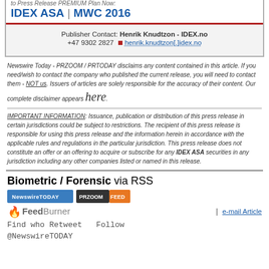IDEX ASA | MWC 2016
Publisher Contact: Henrik Knudtzon - IDEX.no +47 9302 2827 henrik.knudtzon[.]idex.no
Newswire Today - PRZOOM / PRTODAY disclaims any content contained in this article. If you need/wish to contact the company who published the current release, you will need to contact them - NOT us. Issuers of articles are solely responsible for the accuracy of their content. Our complete disclaimer appears here.
IMPORTANT INFORMATION: Issuance, publication or distribution of this press release in certain jurisdictions could be subject to restrictions. The recipient of this press release is responsible for using this press release and the information herein in accordance with the applicable rules and regulations in the particular jurisdiction. This press release does not constitute an offer or an offering to acquire or subscribe for any IDEX ASA securities in any jurisdiction including any other companies listed or named in this release.
Biometric / Forensic via RSS
Find who Retweet  Follow @NewswireTODAY